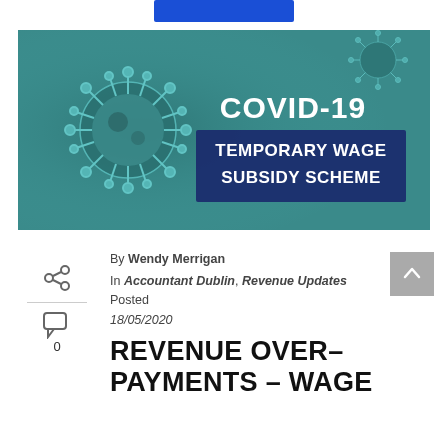[Figure (illustration): COVID-19 Temporary Wage Subsidy Scheme banner image with coronavirus particles on a teal background and text overlay]
By Wendy Merrigan
In Accountant Dublin, Revenue Updates Posted 18/05/2020
REVENUE OVER-PAYMENTS – WAGE